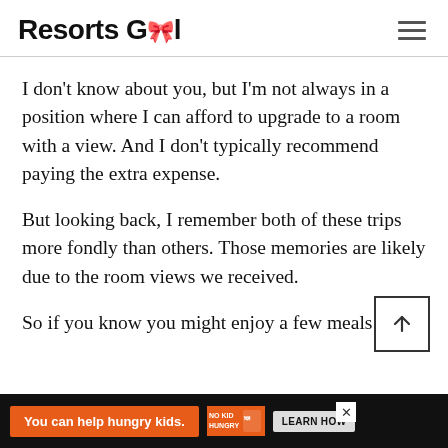Resorts Gal
I don't know about you, but I'm not always in a position where I can afford to upgrade to a room with a view. And I don't typically recommend paying the extra expense.
But looking back, I remember both of these trips more fondly than others. Those memories are likely due to the room views we received.
So if you know you might enjoy a few meals
[Figure (other): Advertisement banner: orange background with 'You can help hungry kids.' text, No Kid Hungry logo, and LEARN HOW button on dark background]